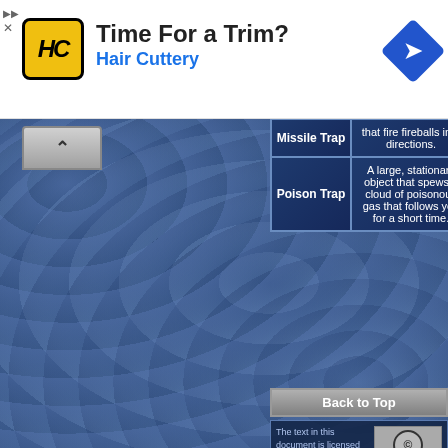[Figure (screenshot): Hair Cuttery advertisement banner at top. Yellow/black HC logo on left, 'Time For a Trim?' headline, 'Hair Cuttery' subtitle in blue, blue diamond arrow icon on right.]
[Figure (screenshot): Web page screenshot showing a blue textured background with a game wiki table containing trap descriptions. Table rows show 'Missile Trap' with 'that fire fireballs in 4 directions.' description and 'Poison Trap' with 'A large, stationary object that spews a cloud of poisonous gas that follows you for a short time.' description. Below table is a 'Back to Top' link. Creative Commons license notice at bottom. Second ad showing 'Kelly Ripa quit the show'.]